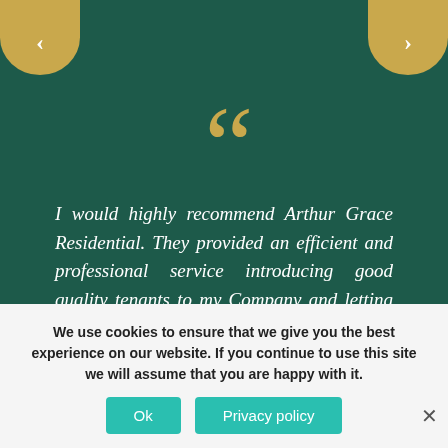[Figure (illustration): Left navigation arrow button, gold semicircle at top-left]
[Figure (illustration): Right navigation arrow button, gold semicircle at top-right]
[Figure (illustration): Large gold opening double quotation mark decorative element]
I would highly recommend Arthur Grace Residential. They provided an efficient and professional service introducing good quality tenants to my Company and letting numerous properties quickly.
[Figure (illustration): Small gold closing double quotation mark decorative element]
We use cookies to ensure that we give you the best experience on our website. If you continue to use this site we will assume that you are happy with it.